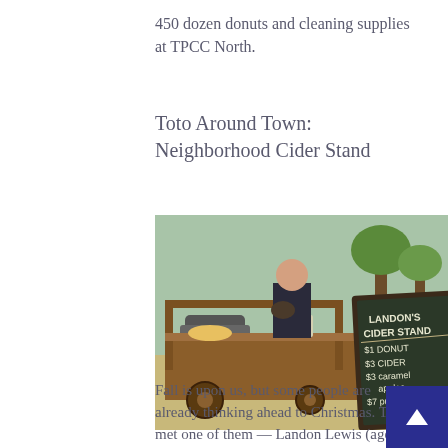450 dozen donuts and cleaning supplies at TPCC North.
Toto Around Town: Neighborhood Cider Stand
[Figure (photo): A child standing behind a wooden market cart selling donuts, cider, caramel apples, and pumpkins outdoors. A chalkboard sign reads: LANDON'S CIDER STAND $1 DONUT $3 CIDER $3 caramel apples $7 pumpki[ns].]
Fall is upon us, but some people are already thinking ahead to Christmas. Toto met one of them — Landon Lewis (age 8). Recently Landon (above) had a neighborhood cider